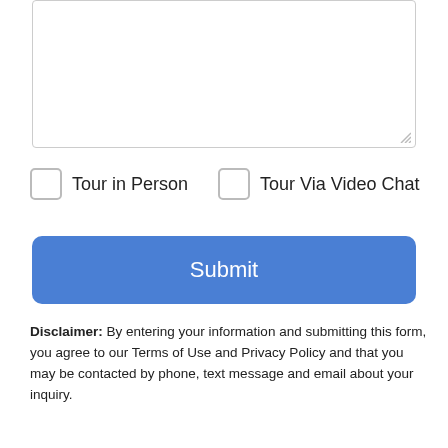[Figure (screenshot): Text area input box, empty, with resize handle at bottom right corner]
Tour in Person
Tour Via Video Chat
Submit
Disclaimer: By entering your information and submitting this form, you agree to our Terms of Use and Privacy Policy and that you may be contacted by phone, text message and email about your inquiry.
[Figure (logo): MLS GRID logo with colorful stacked layers graphic]
Based on information submitted to the MLS GRID as of 2022-09-03T23:33:31.053 UTC. All data is obtained from various sources and may not have been verified by broker or MLS
Take a Tour
Ask A Question